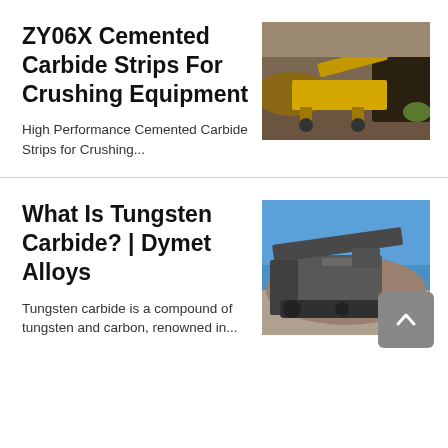ZY06X Cemented Carbide Strips For Crushing Equipment
High Performance Cemented Carbide Strips for Crushing...
[Figure (photo): Outdoor photo of yellow crushing/mining equipment machinery in a rocky terrain]
What Is Tungsten Carbide? | Dymet Alloys
Tungsten carbide is a compound of tungsten and carbon, renowned in...
[Figure (photo): Photo of large industrial crushing machine/equipment outdoors on gravel ground with blue sky background]